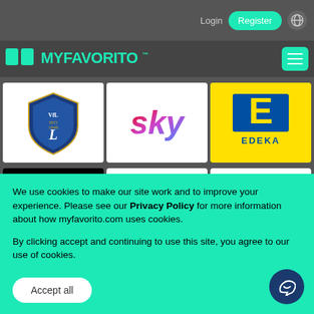Login  Register
[Figure (logo): MYFAVORITO logo in teal/green on dark background with hamburger menu icon]
[Figure (logo): VfL 1848 football club shield logo (blue)]
[Figure (logo): Sky logo in red and blue gradient text]
[Figure (logo): EDEKA supermarket logo - yellow/blue E letter on yellow background]
[Figure (logo): FIBA We Are Basketball logo on black background]
[Figure (logo): Unibail-Rodamco-Westfield logo with red W]
[Figure (logo): Bel Park Dragons green dragon sports logo]
We use cookies to make our site work and to improve your experience. Please see our Privacy Policy for more information about how myfavorito.com uses cookies.
By clicking accept and continuing to use this site, you agree to our use of cookies.
Accept all